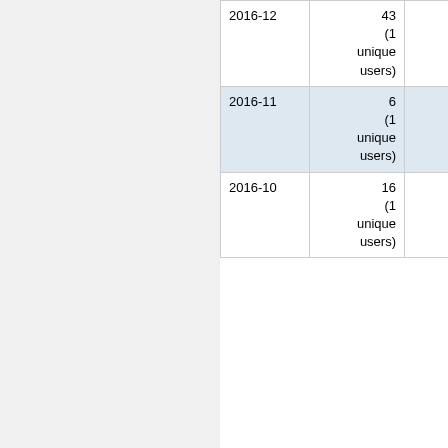| Date | Count 1 | Count 2 | Count 3 |
| --- | --- | --- | --- |
| 2016-12 | 43
(1 unique users) | 0
(0 unique users) | (0 unique users) |
| 2016-11 | 6
(1 unique users) | 0
(0 unique users) | (0 unique users) |
| 2016-10 | 16
(1 unique users) | 0
(0 unique users) | (0 unique users) |